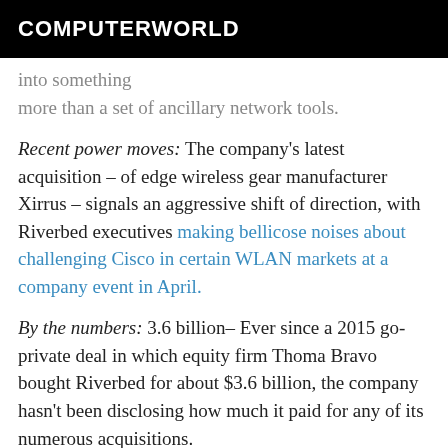COMPUTERWORLD
…into something more than a set of ancillary network tools.
Recent power moves: The company's latest acquisition – of edge wireless gear manufacturer Xirrus – signals an aggressive shift of direction, with Riverbed executives making bellicose noises about challenging Cisco in certain WLAN markets at a company event in April.
By the numbers: 3.6 billion– Ever since a 2015 go-private deal in which equity firm Thoma Bravo bought Riverbed for about $3.6 billion, the company hasn't been disclosing how much it paid for any of its numerous acquisitions.
Outlook: Riverbed's move to do LAN along with WAN